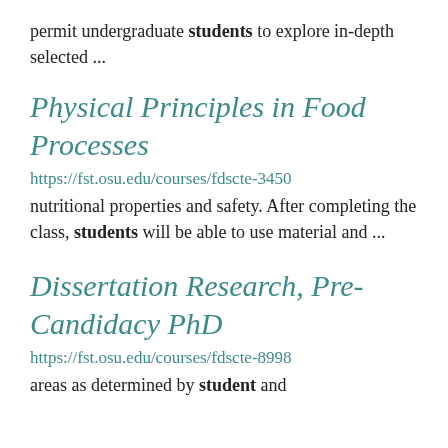permit undergraduate students to explore in-depth selected ...
Physical Principles in Food Processes
https://fst.osu.edu/courses/fdscte-3450
nutritional properties and safety. After completing the class, students will be able to use material and ...
Dissertation Research, Pre-Candidacy PhD
https://fst.osu.edu/courses/fdscte-8998
areas as determined by student and